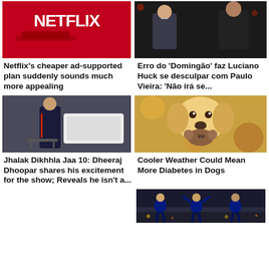[Figure (photo): Netflix logo on red background with a remote control silhouette]
[Figure (photo): Two men standing, one in a suit (Luciano Huck) and one in dark clothing (Paulo Vieira)]
Netflix's cheaper ad-supported plan suddenly sounds much more appealing
Erro do 'Domingão' faz Luciano Huck se desculpar com Paulo Vieira: 'Não irá se...
[Figure (photo): Person in dark tracksuit standing outdoors near a vehicle (Dheeraj Dhoopar)]
[Figure (photo): Golden retriever puppy holding a stuffed bear toy in its mouth]
Jhalak Dikhhla Jaa 10: Dheeraj Dhoopar shares his excitement for the show; Reveals he isn't a...
Cooler Weather Could Mean More Diabetes in Dogs
[Figure (photo): Soccer players celebrating at night in blue jerseys with crowd in background]